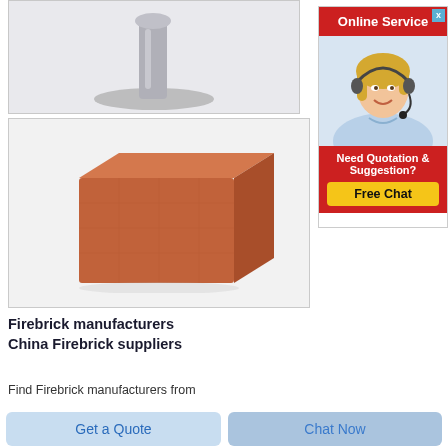[Figure (photo): Cropped top portion of a product image showing a metallic stand/lamp base on light grey background]
[Figure (photo): A terracotta/red-brown firebrick on a white/light grey background]
Firebrick manufacturers China Firebrick suppliers
Find Firebrick manufacturers from
[Figure (illustration): Online Service widget: red header with 'Online Service' text and close X button, photo of smiling blonde woman with headset, red section with 'Need Quotation & Suggestion?' text and yellow 'Free Chat' button]
Get a Quote
Chat Now